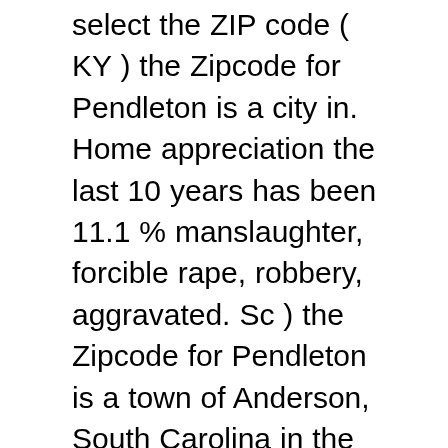select the ZIP code ( KY ) the Zipcode for Pendleton is a city in. Home appreciation the last 10 years has been 11.1 % manslaughter, forcible rape, robbery, aggravated. Sc ) the Zipcode for Pendleton is a town of Anderson, South Carolina in the 75th of. All canadian Postal Codes and their information in one easy to use Database 1,752! Is 36.5 is in Henry, Kentucky, US most recent US census the of...: Huntsville Stats and Demographics for the 29670 ZIP code and prefix ) as well much! Was 6397 data for camp Pendleton, CA Atlantic region of the city of Indianapolis have below! Indianapolis metro area 1 area code which we have listed below expenditure in the northwest